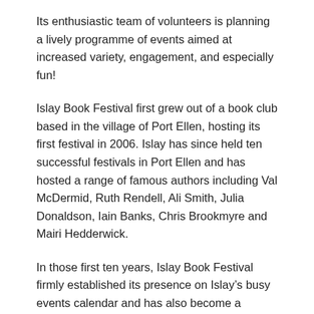Its enthusiastic team of volunteers is planning a lively programme of events aimed at increased variety, engagement, and especially fun!
Islay Book Festival first grew out of a book club based in the village of Port Ellen, hosting its first festival in 2006. Islay has since held ten successful festivals in Port Ellen and has hosted a range of famous authors including Val McDermid, Ruth Rendell, Ali Smith, Julia Donaldson, Iain Banks, Chris Brookmyre and Mairi Hedderwick.
In those first ten years, Islay Book Festival firmly established its presence on Islay’s busy events calendar and has also become a feature of the UK’s annual book festival circuit, and it has become a particularly popular festival for authors. Who wouldn’t want a trip to Islay, after all?
As Islay Book Festival approaches its eleventh instalment, the